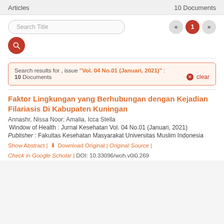Articles    10 Documents
Search results for , issue "Vol. 04 No.01 (Januari, 2021)" : 10 Documents  clear
Faktor Lingkungan yang Berhubungan dengan Kejadian Filariasis Di Kabupaten Kuningan
Annashr, Nissa Noor; Amalia, Icca Stella
Window of Health : Jurnal Kesehatan Vol. 04 No.01 (Januari, 2021)
Publisher : Fakultas Kesehatan Masyarakat Universitas Muslim Indonesia
Show Abstract | Download Original | Original Source | Check in Google Scholar | DOI: 10.33096/woh.v0i0.269